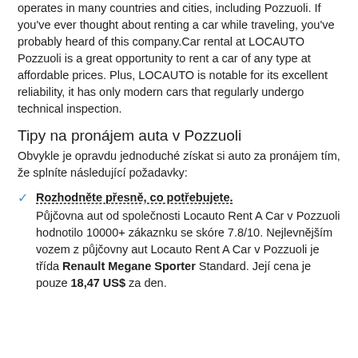operates in many countries and cities, including Pozzuoli. If you've ever thought about renting a car while traveling, you've probably heard of this company.Car rental at LOCAUTO Pozzuoli is a great opportunity to rent a car of any type at affordable prices. Plus, LOCAUTO is notable for its excellent reliability, it has only modern cars that regularly undergo technical inspection.
Tipy na pronájem auta v Pozzuoli
Obvykle je opravdu jednoduché získat si auto za pronájem tím, že splníte následující požadavky:
Rozhodněte přesně, co potřebujete. Půjčovna aut od společnosti Locauto Rent A Car v Pozzuoli hodnotilo 10000+ zákaznku se skóre 7.8/10. Nejlevnějším vozem z půjčovny aut Locauto Rent A Car v Pozzuoli je třída Renault Megane Sporter Standard. Její cena je pouze 18,47 US$ za den.